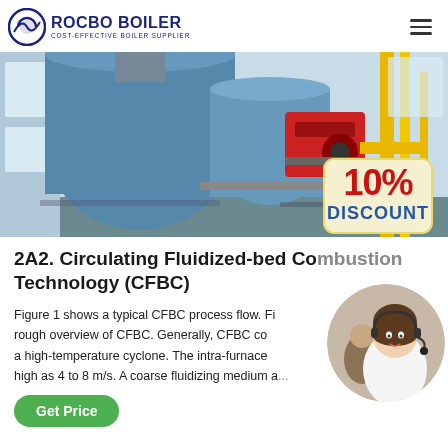ROCBO BOILER COST-EFFECTIVE BOILER SUPPLIER
[Figure (photo): Industrial boiler equipment in a factory setting with blue cylindrical boilers, red burner components, and yellow gas pipe infrastructure. A 10% DISCOUNT badge is overlaid in the bottom-right corner.]
2A2. Circulating Fluidized-bed Combustion Technology (CFBC)
Figure 1 shows a typical CFBC process flow. Fi rough overview of CFBC. Generally, CFBC co a high-temperature cyclone. The intra-furnace high as 4 to 8 m/s. A coarse fluidizing medium a...